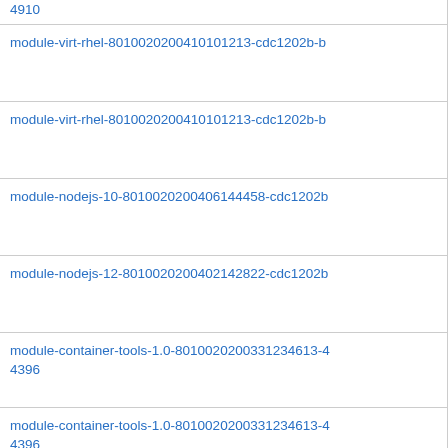| 4910 |
| module-virt-rhel-8010020200410101213-cdc1202b-b... |
| module-virt-rhel-8010020200410101213-cdc1202b-b... |
| module-nodejs-10-8010020200406144458-cdc1202b... |
| module-nodejs-12-8010020200402142822-cdc1202b... |
| module-container-tools-1.0-8010020200331234613-4...
4396 |
| module-container-tools-1.0-8010020200331234613-4...
4396 |
| module-container-tools-1.0-8010020200331234613-4...
4396 |
| module-container-tools-1.0-8010020200331234613-4...
4396 |
| module-container-tools-1.0-8010020200331234613-4... |